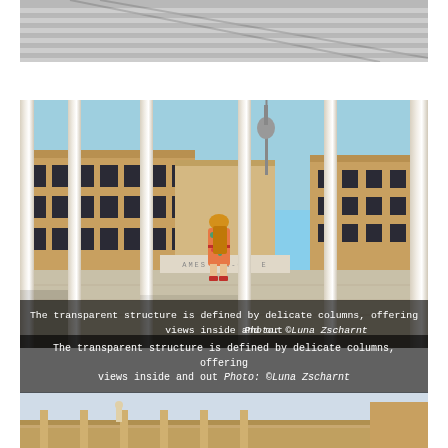[Figure (photo): Top portion of a staircase photo, cropped at top of page, showing people on stairs with light/shadow striped pattern]
[Figure (photo): Architectural photo of a modern transparent structure with delicate white columns, viewed from inside looking out. A woman in a floral dress stands in the middle ground. Berlin's TV tower (Fernsehturm) visible in background, along with classical museum buildings. Text overlay at bottom reads: The transparent structure is defined by delicate columns, offering views inside and out Photo: ©Luna Zscharnt]
The transparent structure is defined by delicate columns, offering views inside and out Photo: ©Luna Zscharnt
[Figure (photo): Bottom portion of a photo showing classical architecture with a statue visible on a roofline against a light sky, cropped at bottom of page]